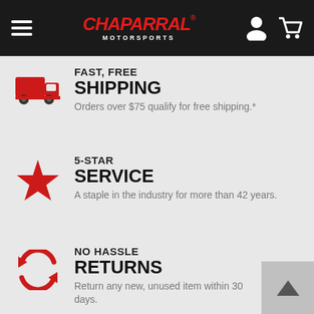Chaparral Motorsports
FAST, FREE SHIPPING
Orders over $75 qualify for free shipping.*
5-STAR SERVICE
A staple in the industry for more than 42 years.
NO HASSLE RETURNS
Return any new, unused item within 30 days.